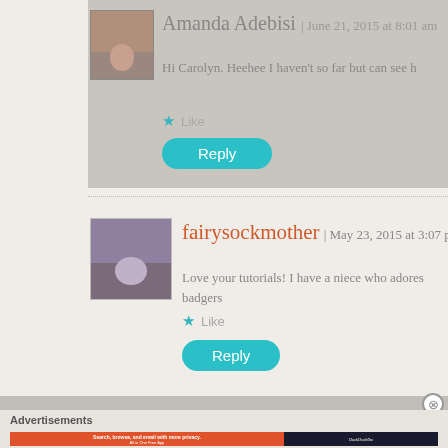Amanda Adebisi | June 21, 2015 at 8:01 am
Hi Carolyn. Heehee I haven't so far but can see h
Like
Reply
fairysockmother | May 23, 2015 at 3:07 pm
Love your tutorials! I have a niece who adores badgers
Like
Reply
Advertisements
[Figure (screenshot): DuckDuckGo advertisement banner: 'Search, browse, and email with more privacy. All in One Free App' with DuckDuckGo duck logo on dark background]